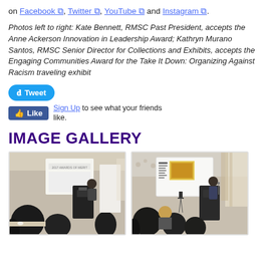on Facebook, Twitter, YouTube and Instagram.
Photos left to right: Kate Bennett, RMSC Past President, accepts the Anne Ackerson Innovation in Leadership Award; Kathryn Murano Santos, RMSC Senior Director for Collections and Exhibits, accepts the Engaging Communities Award for the Take It Down: Organizing Against Racism traveling exhibit
IMAGE GALLERY
[Figure (photo): Photo of a presentation event, showing a podium with a screen displaying '2017 AWARDS OF MERIT', audience members seated in foreground.]
[Figure (photo): Photo of a presentation event, showing a podium, a projection screen with text and an image, and a speaker at a microphone, audience in foreground.]